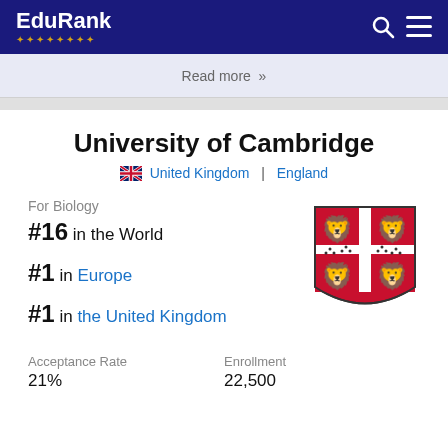EduRank
Read more »
University of Cambridge
🇬🇧 United Kingdom | England
For Biology
#16 in the World
#1 in Europe
#1 in the United Kingdom
[Figure (illustration): Cambridge University coat of arms / crest shield]
Acceptance Rate
21%
Enrollment
22,500